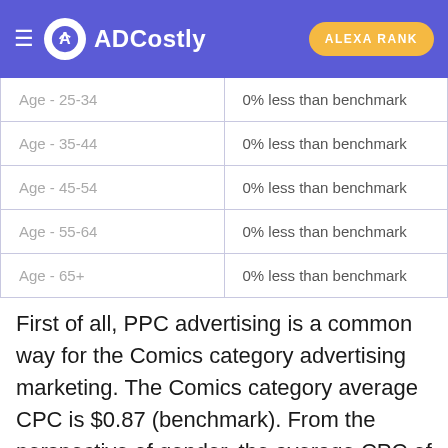ADCostly | ALEXA RANK
| Age - 25-34 | 0% less than benchmark |
| Age - 35-44 | 0% less than benchmark |
| Age - 45-54 | 0% less than benchmark |
| Age - 55-64 | 0% less than benchmark |
| Age - 65+ | 0% less than benchmark |
First of all, PPC advertising is a common way for the Comics category advertising marketing. The Comics category average CPC is $0.87 (benchmark). From the perspective of gender, the average CPC of Female is higher, and its cost is 0% less than the average benchmark